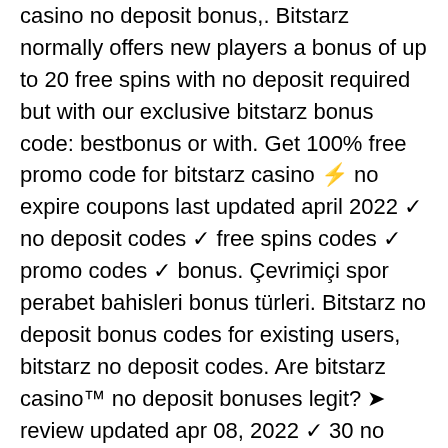casino no deposit bonus,. Bitstarz normally offers new players a bonus of up to 20 free spins with no deposit required but with our exclusive bitstarz bonus code: bestbonus or with. Get 100% free promo code for bitstarz casino ⚡ no expire coupons last updated april 2022 ✓ no deposit codes ✓ free spins codes ✓ promo codes ✓ bonus. Çevrimiçi spor perabet bahisleri bonus türleri. Bitstarz no deposit bonus codes for existing users, bitstarz no deposit codes. Are bitstarz casino™ no deposit bonuses legit? ➤ review updated apr 08, 2022 ✓ 30 no deposit free spins on wolf treasure ✓ withdraw winnings instantly! To join Jack's Club, players simply have to have been a long time member of FortuneJack, or wager a high amount of cryptocurrency, bitstarz free bonus codes existing users 2021. Not only does it feature an enormous range of real-life sports to choose from, including all major soccer premierships and games